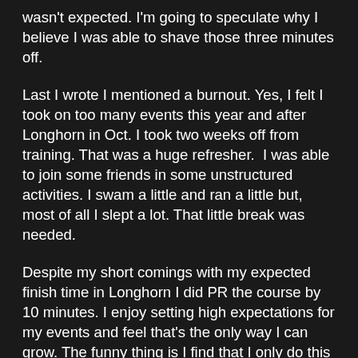wasn't expected. I'm going to speculate why I believe I was able to shave those three minutes off.
Last I wrote I mentioned a burnout. Yes, I felt I took on too many events this year and after Longhorn in Oct. I took two weeks off from training. That was a huge refresher.  I was able to join some friends in some unstructured activities. I swam a little and ran a little but, most of all I slept a lot. That little break was needed.
Despite my short comings with my expected finish time in Longhorn I did PR the course by 10 minutes. I enjoy setting high expectations for my events and feel that's the only way I can grow. The funny thing is I find that I only do this with my triathlon events. When it comes to my running events I set goals which I know are obtainable or very close to being obtainable.
A couple weeks back I signed up for the 10k Turkey Trot in Fort Worth. I ran the event last year and wanted to see if I could match or better last year's time. A week before the Turkey Trot I found out there was a half marathon on